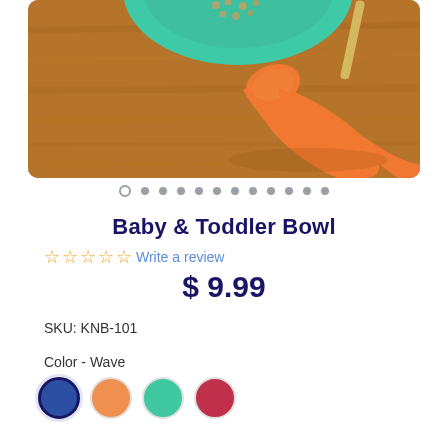[Figure (photo): Product photo showing an orange silicone baby spoon on a wooden surface with a teal/mint silicone bowl containing cereal in the background, and a gold straw visible to the right.]
○ • • • • • • • • • • •
Baby & Toddler Bowl
☆☆☆☆☆ Write a review
$ 9.99
SKU: KNB-101
Color - Wave